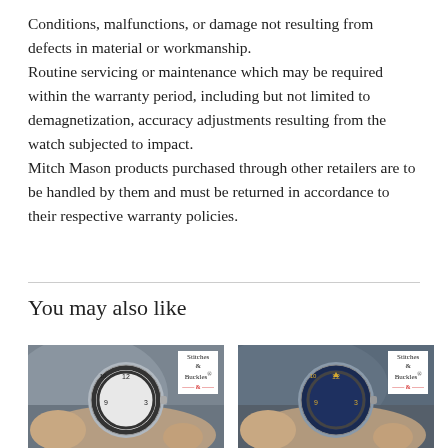Conditions, malfunctions, or damage not resulting from defects in material or workmanship.
Routine servicing or maintenance which may be required within the warranty period, including but not limited to demagnetization, accuracy adjustments resulting from the watch subjected to impact.
Mitch Mason products purchased through other retailers are to be handled by them and must be returned in accordance to their respective warranty policies.
You may also like
[Figure (photo): Hand holding a silver/white-dial dive watch with Stitches & Buckles watermark]
[Figure (photo): Hand holding a blue-dial dive watch with Stitches & Buckles watermark]